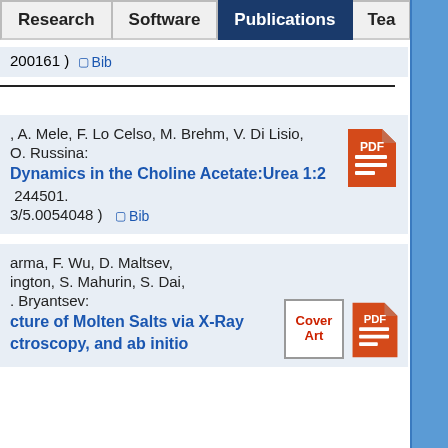Research | Software | Publications | Tea...
200161 )  Bib
, A. Mele, F. Lo Celso, M. Brehm, V. Di Lisio, O. Russina:
Dynamics in the Choline Acetate:Urea 1:2
244501.
3/5.0054048 )   Bib
arma, F. Wu, D. Maltsev,
ington, S. Mahurin, S. Dai,
. Bryantsev:
cture of Molten Salts via X-Ray
ctroscopy, and ab initio